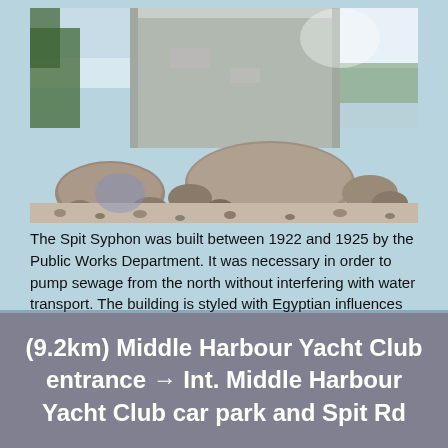[Figure (photo): Outdoor photo of a rocky beach with large boulders and pebbles in the foreground, a large concrete block-shaped building (the Spit Syphon) in the background, and blue sky with water visible on the right side.]
The Spit Syphon was built between 1922 and 1925 by the Public Works Department. It was necessary in order to pump sewage from the north without interfering with water transport. The building is styled with Egyptian influences as displayed by its tall, square concrete walls. More info.
(9.2km) Middle Harbour Yacht Club entrance → Int. Middle Harbour Yacht Club car park and Spit Rd